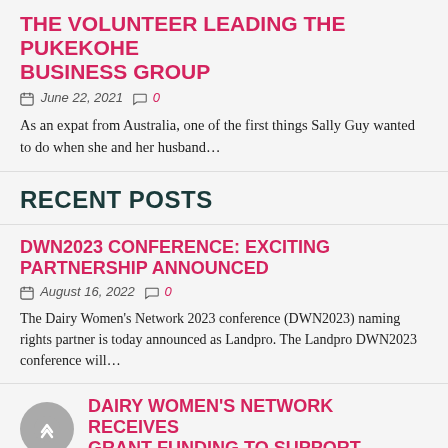THE VOLUNTEER LEADING THE PUKEKOHE BUSINESS GROUP
June 22, 2021  0
As an expat from Australia, one of the first things Sally Guy wanted to do when she and her husband…
RECENT POSTS
DWN2023 CONFERENCE: EXCITING PARTNERSHIP ANNOUNCED
August 16, 2022  0
The Dairy Women's Network 2023 conference (DWN2023) naming rights partner is today announced as Landpro. The Landpro DWN2023 conference will…
DAIRY WOMEN'S NETWORK RECEIVES GRANT FUNDING TO SUPPORT WOMEN FARMING FOR THE FUTURE